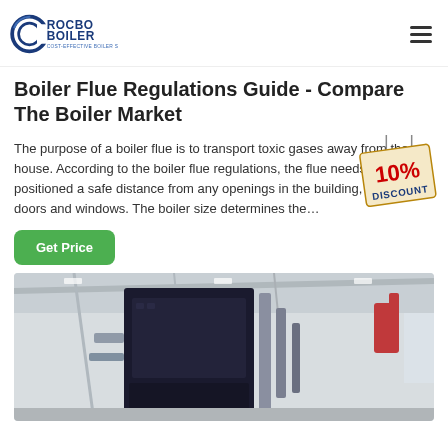ROCBO BOILER - COST-EFFECTIVE BOILER SUPPLIER
Boiler Flue Regulations Guide - Compare The Boiler Market
The purpose of a boiler flue is to transport toxic gases away from the house. According to the boiler flue regulations, the flue needs to be positioned a safe distance from any openings in the building, including doors and windows. The boiler size determines the…
[Figure (other): 10% DISCOUNT badge/label overlaid on the text area]
[Figure (photo): Interior photo of an industrial boiler installation in a large warehouse/factory building showing a large dark metal boiler unit with pipes and industrial ceiling structure]
Get Price